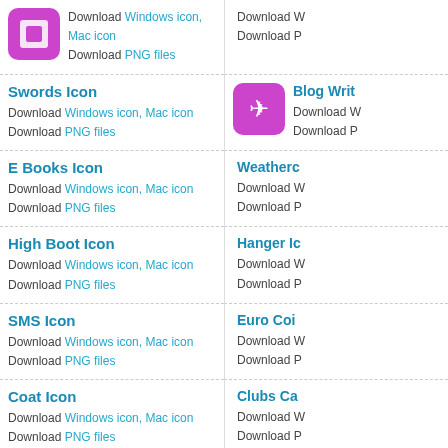Download Windows icon, Mac icon
Download PNG files
Download
Download P
Swords Icon
Download Windows icon, Mac icon
Download PNG files
Blog Writ...
Download W
Download P
E Books Icon
Download Windows icon, Mac icon
Download PNG files
Weatherc...
Download W
Download P
High Boot Icon
Download Windows icon, Mac icon
Download PNG files
Hanger Ic...
Download W
Download P
SMS Icon
Download Windows icon, Mac icon
Download PNG files
Euro Coi...
Download W
Download P
Coat Icon
Download Windows icon, Mac icon
Download PNG files
Clubs Ca...
Download W
Download P
Music Converter Icon
Download Windows icon, Mac icon
Download PNG files
Plumbing...
Download W
Download P